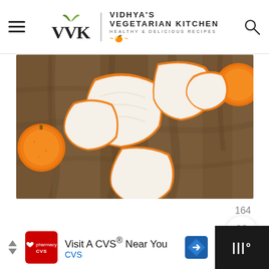Vidhya's Vegetarian Kitchen - Healthy & Delicious Recipes
[Figure (photo): Overhead photo of orange peels spread out on a wooden cutting board, with whole oranges visible at the edges]
164
[Figure (other): Heart (favorite) button - white circular button with heart icon]
[Figure (other): Search button - olive green circular button with search/magnifier icon]
[Figure (other): CVS advertisement banner: Visit A CVS Near You - CVS logo, map pin icon, dark section on right]